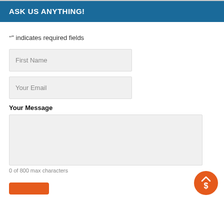ASK US ANYTHING!
"" indicates required fields
First Name
Your Email
Your Message
0 of 800 max characters